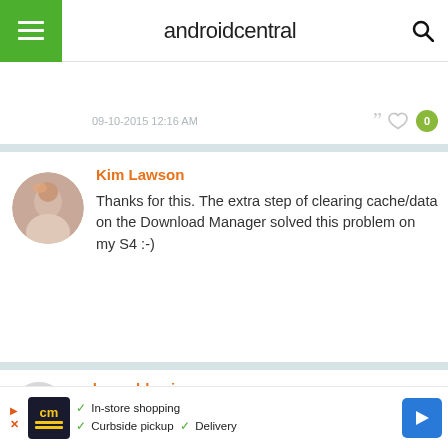androidcentral
09-10-2015 12:16 AM
Kim Lawson
Thanks for this. The extra step of clearing cache/data on the Download Manager solved this problem on my S4 :-)
11-06-2015 10:01 AM
salmanabbasi
clearing cache and data solved the problem for me
11-10-2015 01:56 AM
[Figure (infographic): Advertisement banner with cm logo, checkmarks for In-store shopping, Curbside pickup, Delivery, and blue navigation arrow icon]